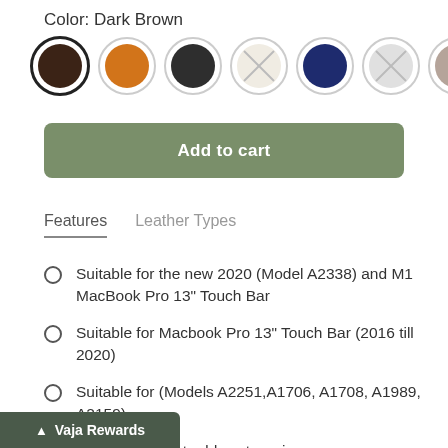Color: Dark Brown
[Figure (other): Color swatches: dark brown (selected), orange, dark grey, cream/white (crossed out), navy blue, grey (crossed out), taupe]
Add to cart
Features   Leather Types
Suitable for the new 2020 (Model A2338) and M1 MacBook Pro 13" Touch Bar
Suitable for Macbook Pro 13" Touch Bar (2016 till 2020)
Suitable for (Models A2251,A1706, A1708, A1989, A2159)
Leatherized feet adds extra grip.
p-On attachment with 11 fixing snaps
Vaja Rewards